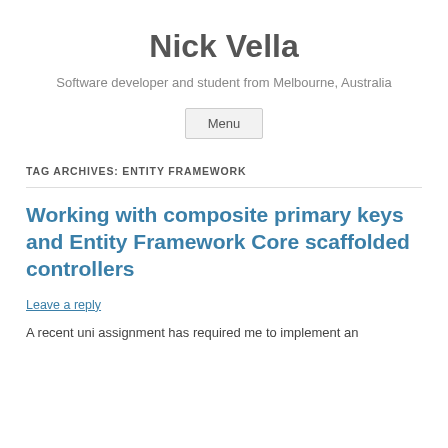Nick Vella
Software developer and student from Melbourne, Australia
Menu
TAG ARCHIVES: ENTITY FRAMEWORK
Working with composite primary keys and Entity Framework Core scaffolded controllers
Leave a reply
A recent uni assignment has required me to implement an